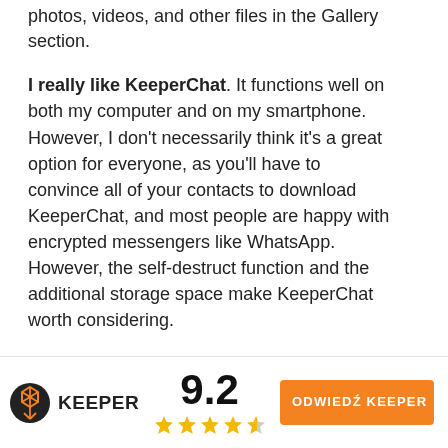photos, videos, and other files in the Gallery section.
I really like KeeperChat. It functions well on both my computer and on my smartphone. However, I don't necessarily think it's a great option for everyone, as you'll have to convince all of your contacts to download KeeperChat, and most people are happy with encrypted messengers like WhatsApp. However, the self-destruct function and the additional storage space make KeeperChat worth considering.
[Figure (screenshot): Orange button partially visible at bottom of content area reading ODWIEDŹ KEEPER with arrow circle icon]
[Figure (logo): Keeper logo with honeycomb icon and text KEEPER, score 9.2, star rating (4.5 stars), and orange ODWIEDŹ KEEPER button in footer bar]